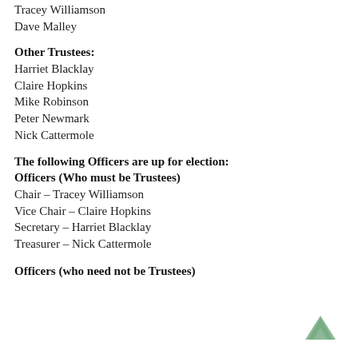Tracey Williamson
Dave Malley
Other Trustees:
Harriet Blacklay
Claire Hopkins
Mike Robinson
Peter Newmark
Nick Cattermole
The following Officers are up for election:
Officers (Who must be Trustees)
Chair – Tracey Williamson
Vice Chair – Claire Hopkins
Secretary – Harriet Blacklay
Treasurer – Nick Cattermole
[Figure (illustration): Green upward-pointing chevron/arrow icon (back to top button)]
Officers (who need not be Trustees)